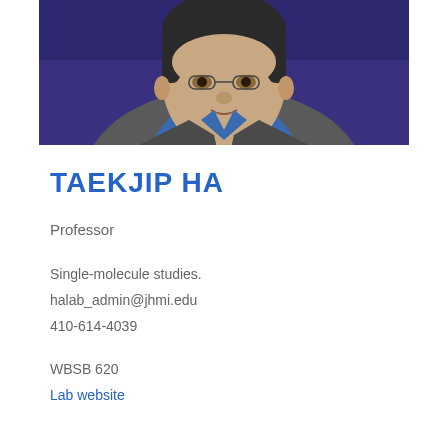[Figure (photo): Professional headshot of Taekjip Ha, a man in a grey blazer and blue shirt against a dark blue/purple background.]
TAEKJIP HA
Professor
Single-molecule studies.
halab_admin@jhmi.edu
410-614-4039
WBSB 620
Lab website